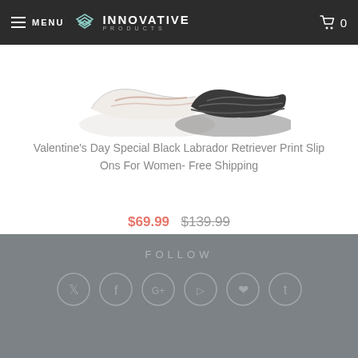MENU | INNOVATIVE PRODUCTS | Cart: 0
[Figure (photo): Product image showing Black Labrador Retriever Print Slip On shoes for women, partially visible at the top]
Valentine's Day Special Black Labrador Retriever Print Slip Ons For Women- Free Shipping
$69.99 $139.99
Loading...
FOLLOW with social media icons: Twitter, Facebook, Google+, Vimeo, Pinterest, Tumblr